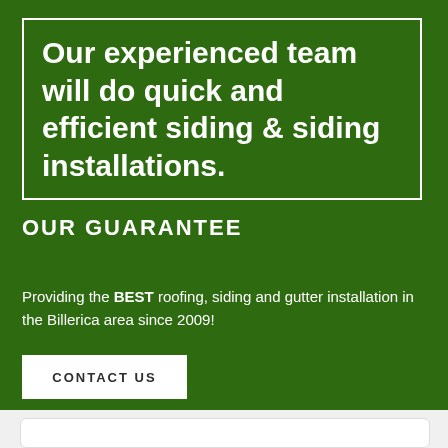Our experienced team will do quick and efficient siding & siding installations.
OUR GUARANTEE
Providing the BEST roofing, siding and gutter installation in the Billerica area since 2009!
CONTACT US